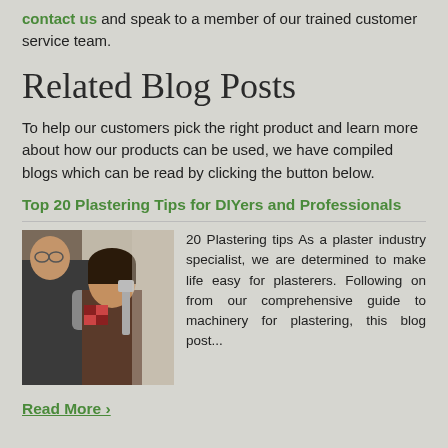contact us and speak to a member of our trained customer service team.
Related Blog Posts
To help our customers pick the right product and learn more about how our products can be used, we have compiled blogs which can be read by clicking the button below.
Top 20 Plastering Tips for DIYers and Professionals
[Figure (photo): Two people plastering a wall, one wearing gloves, viewed in an indoor construction setting.]
20 Plastering tips As a plaster industry specialist, we are determined to make life easy for plasterers. Following on from our comprehensive guide to machinery for plastering, this blog post...
Read More ›